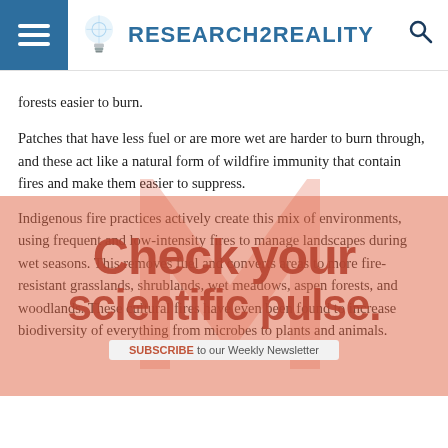RESEARCH2REALITY
forests easier to burn.
Patches that have less fuel or are more wet are harder to burn through, and these act like a natural form of wildfire immunity that contain fires and make them easier to suppress.
[Figure (other): Promotional overlay advertisement reading 'Check your scientific pulse.' with a Subscribe to our Weekly Newsletter bar, overlaid on article text with salmon/orange background and a stylized M watermark.]
Indigenous fire practices actively create this mix of environments, using frequent and low-intensity fires to manage landscapes during wet seasons. This removes fuel and converts areas to more fire-resistant grasslands, shrublands, wet meadows, aspen forests, and woodlands. These cultural fires have even been found to increase biodiversity of everything from microbes to plants and animals.